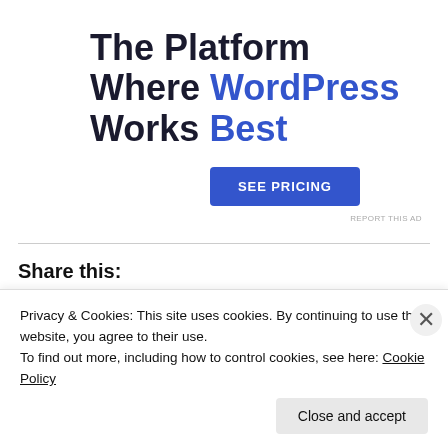The Platform Where WordPress Works Best
SEE PRICING
REPORT THIS AD
Share this:
Privacy & Cookies: This site uses cookies. By continuing to use this website, you agree to their use.
To find out more, including how to control cookies, see here: Cookie Policy
Close and accept